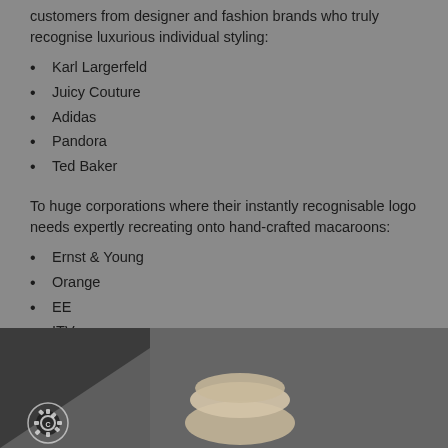customers from designer and fashion brands who truly recognise luxurious individual styling:
Karl Largerfeld
Juicy Couture
Adidas
Pandora
Ted Baker
To huge corporations where their instantly recognisable logo needs expertly recreating onto hand-crafted macaroons:
Ernst & Young
Orange
EE
ITV
Santander
Experian
Goldman Sachs
[Figure (photo): Photo of a macaroon on a dark background with a logo watermark in the bottom left corner]